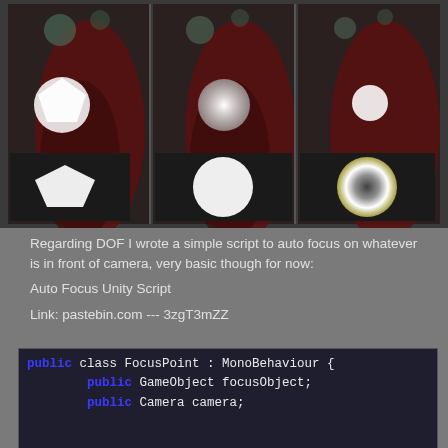[Figure (photo): Three side-by-side depth-of-field comparison images showing bokeh effects. Left image shows a pentagonal bokeh shape with an inset closeup. Center shows a circular bokeh with inset closeup. Right shows a circular bokeh with a dark center and inset closeup. Background shows a dark reddish/dark green macro scene.]
Regarding DOF I wrote a simple script to auto focus on whatever is in front of camera, very basic though for now:
Auto Focus Unity Script
Link: pastebin.com --- 3zgT3mZZ
public class FocusPoint : MonoBehaviour {
    public GameObject focusObject;
    public Camera camera;


    void Update () {
        if(camera==null||focusObject==null) return;